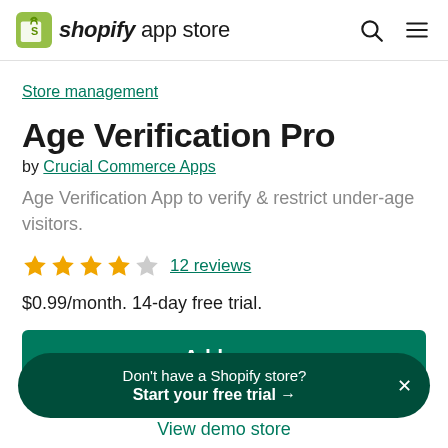shopify app store
Store management
Age Verification Pro
by Crucial Commerce Apps
Age Verification App to verify & restrict under-age visitors.
★★★★☆ 12 reviews
$0.99/month. 14-day free trial.
Add app
Don't have a Shopify store? Start your free trial →
View demo store